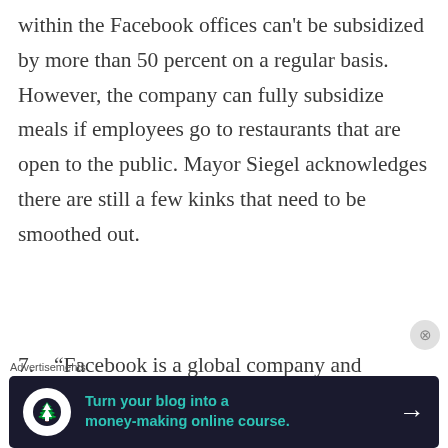within the Facebook offices can't be subsidized by more than 50 percent on a regular basis. However, the company can fully subsidize meals if employees go to restaurants that are open to the public. Mayor Siegel acknowledges there are still a few kinks that need to be smoothed out.
7. “Facebook is a global company and some of their people work in the middle of the night,” Siegel says. “If all the restaurants are closed, maybe I would...
[Figure (infographic): Advertisement banner with dark background reading 'Turn your blog into a money-making online course.' with arrow button, Teachable logo icon on left.]